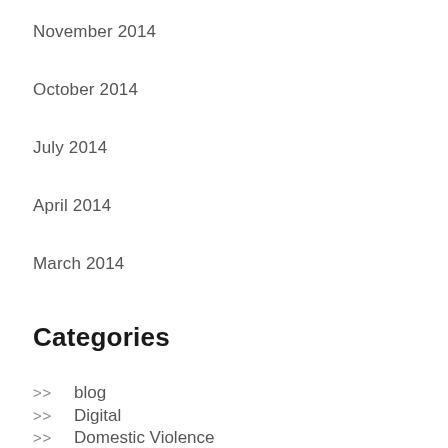November 2014
October 2014
July 2014
April 2014
March 2014
Categories
>> blog
>> Digital
>> Domestic Violence